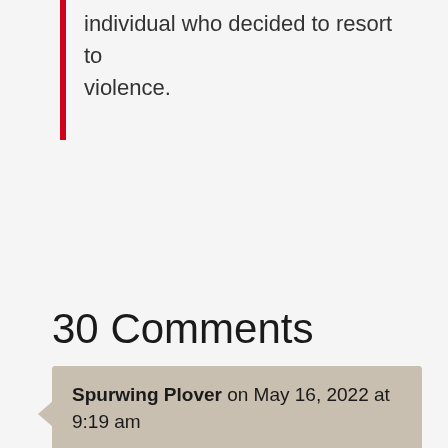individual who decided to resort to violence.
Read more
30 Comments
Spurwing Plover on May 16, 2022 at 9:19 am
You can always bet your bottom dollar t hat when there iss a mass shooting their going to blame the Gun Lobby(NRA)Gun